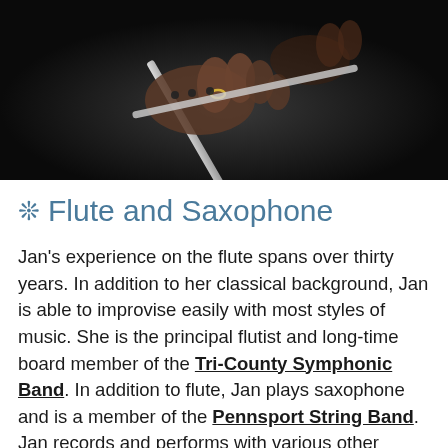[Figure (photo): Close-up dark photo of hands holding a flute or similar wind instrument, against a dark background]
❊ Flute and Saxophone
Jan's experience on the flute spans over thirty years. In addition to her classical background, Jan is able to improvise easily with most styles of music. She is the principal flutist and long-time board member of the Tri-County Symphonic Band. In addition to flute, Jan plays saxophone and is a member of the Pennsport String Band. Jan records and performs with various other artists in the South Jersey and Philadelphia area.  She is a proud supporter of the Philadelphia Folksong Society